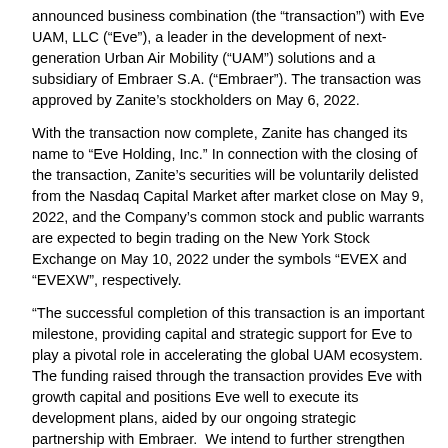announced business combination (the “transaction”) with Eve UAM, LLC (“Eve”), a leader in the development of next-generation Urban Air Mobility (“UAM”) solutions and a subsidiary of Embraer S.A. (“Embraer”). The transaction was approved by Zanite’s stockholders on May 6, 2022.
With the transaction now complete, Zanite has changed its name to “Eve Holding, Inc.” In connection with the closing of the transaction, Zanite’s securities will be voluntarily delisted from the Nasdaq Capital Market after market close on May 9, 2022, and the Company’s common stock and public warrants are expected to begin trading on the New York Stock Exchange on May 10, 2022 under the symbols “EVEX and “EVEXW”, respectively.
“The successful completion of this transaction is an important milestone, providing capital and strategic support for Eve to play a pivotal role in accelerating the global UAM ecosystem.  The funding raised through the transaction provides Eve with growth capital and positions Eve well to execute its development plans, aided by our ongoing strategic partnership with Embraer.  We intend to further strengthen our position as a leading global UAM player by delivering an effective and sustainable new mode of urban transportation,” said the Company’s Co-CEO Andre Stein.